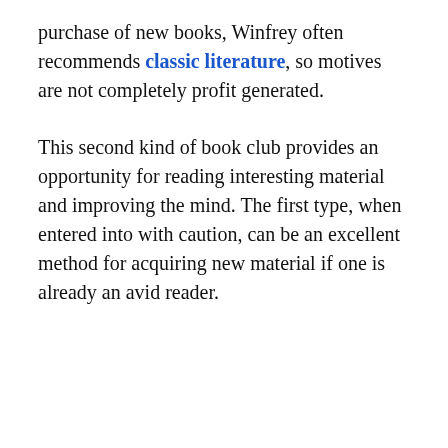purchase of new books, Winfrey often recommends classic literature, so motives are not completely profit generated.
This second kind of book club provides an opportunity for reading interesting material and improving the mind. The first type, when entered into with caution, can be an excellent method for acquiring new material if one is already an avid reader.